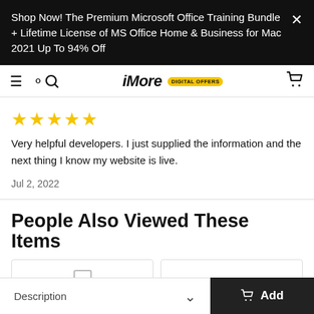Shop Now! The Premium Microsoft Office Training Bundle + Lifetime License of MS Office Home & Business for Mac 2021 Up To 94% Off
[Figure (screenshot): iMore Digital Offers navigation bar with hamburger menu, search icon, iMore logo with DIGITAL OFFERS badge, and cart icon]
★★★★★
Very helpful developers. I just supplied the information and the next thing I know my website is live.
Jul 2, 2022
People Also Viewed These Items
[Figure (other): Two product card placeholders shown side by side]
Description
Add